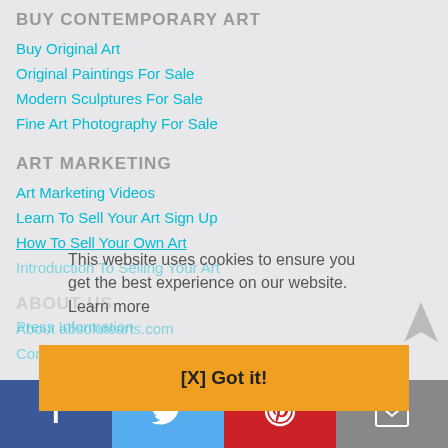BUY CONTEMPORARY ART
Buy Original Art
Original Paintings For Sale
Modern Sculptures For Sale
Fine Art Photography For Sale
ART MARKETING
Art Marketing Videos
Learn To Sell Your Art Sign Up
How To Sell Your Own Art
Introduction To Selling Your Art
ABOUT US
About absolutearts.com
Contact Us
This website uses cookies to ensure you get the best experience on our website.
Learn more
Press Information
[X] Got it!